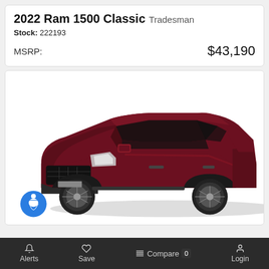2022 Ram 1500 Classic Tradesman
Stock: 222193
MSRP: $43,190
[Figure (photo): Dark red/maroon 2022 Dodge Durango SUV shown in 3/4 front view on white background]
Alerts  Save  Compare 0  Login